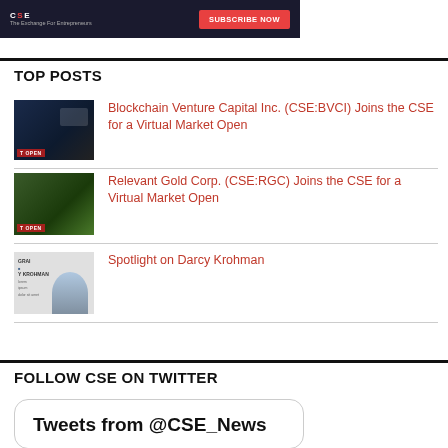[Figure (illustration): Banner with CSE Exchange logo and red SUBSCRIBE NOW button on dark background]
TOP POSTS
[Figure (photo): Dark thumbnail image for Blockchain Venture Capital post with red label]
Blockchain Venture Capital Inc. (CSE:BVCI) Joins the CSE for a Virtual Market Open
[Figure (photo): Outdoor group photo thumbnail for Relevant Gold Corp post with red label]
Relevant Gold Corp. (CSE:RGC) Joins the CSE for a Virtual Market Open
[Figure (photo): Profile thumbnail for Darcy Krohman spotlight post]
Spotlight on Darcy Krohman
FOLLOW CSE ON TWITTER
Tweets from @CSE_News